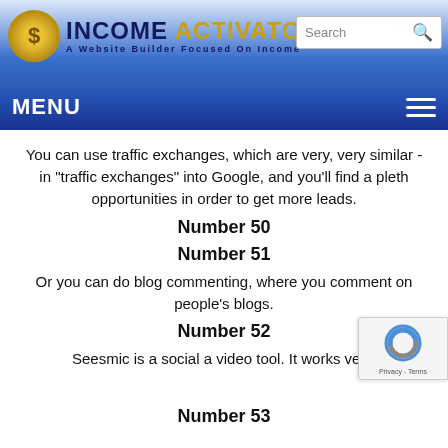INCOME ACTIVATOR — A Website Builder Focused On Income
You can use traffic exchanges, which are very, very similar - in "traffic exchanges" into Google, and you'll find a pleth- opportunities in order to get more leads.
Number 50
Number 51
Or you can do blog commenting, where you comment on people's blogs.
Number 52
Seesmic is a social a video tool. It works very,
Number 53